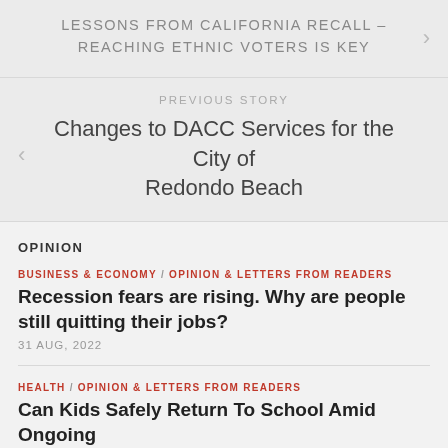LESSONS FROM CALIFORNIA RECALL – REACHING ETHNIC VOTERS IS KEY
PREVIOUS STORY
Changes to DACC Services for the City of Redondo Beach
OPINION
BUSINESS & ECONOMY / OPINION & LETTERS FROM READERS
Recession fears are rising. Why are people still quitting their jobs?
31 AUG, 2022
HEALTH / OPINION & LETTERS FROM READERS
Can Kids Safely Return To School Amid Ongoing